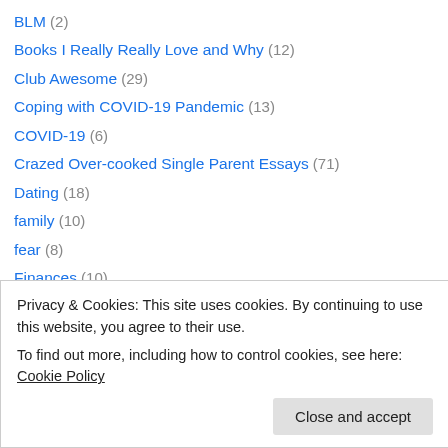BLM (2)
Books I Really Really Love and Why (12)
Club Awesome (29)
Coping with COVID-19 Pandemic (13)
COVID-19 (6)
Crazed Over-cooked Single Parent Essays (71)
Dating (18)
family (10)
fear (8)
Finances (10)
Focus (23)
Friendship (10)
Gold Star Club (7)
Privacy & Cookies: This site uses cookies. By continuing to use this website, you agree to their use.
To find out more, including how to control cookies, see here: Cookie Policy
parenting (41)